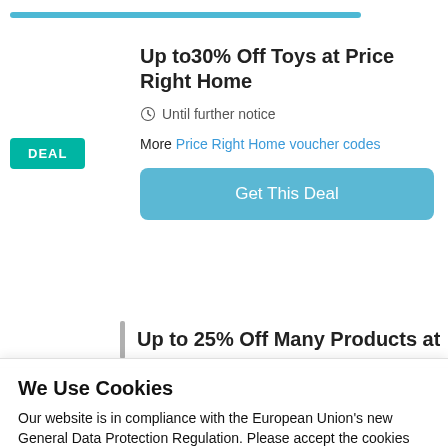[Figure (screenshot): Partial blue progress/navigation bar at top of page]
Up to30% Off Toys at Price Right Home
Until further notice
More Price Right Home voucher codes
Get This Deal
Up to 25% Off Many Products at
We Use Cookies
Our website is in compliance with the European Union's new General Data Protection Regulation. Please accept the cookies and terms and conditions for the proper operation of the website
Cookie Settings
Accept All